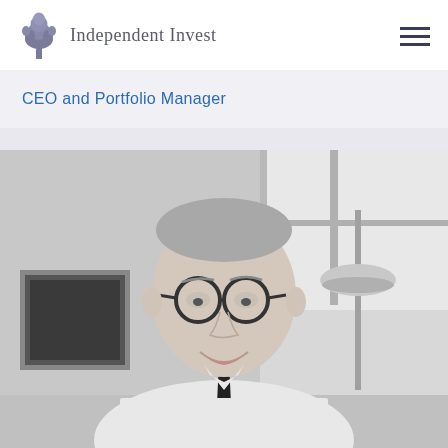Independent Invest
CEO and Portfolio Manager
[Figure (photo): Black and white portrait photo of a smiling middle-aged man with glasses, wearing a white dress shirt and dark tie, seated in an office environment with a framed picture and a lamp visible in the background.]